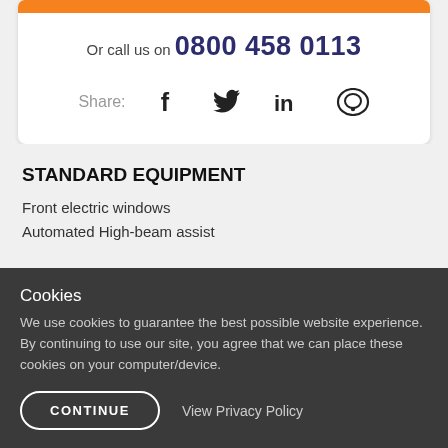Or call us on 0800 458 0113
Share:
STANDARD EQUIPMENT
Front electric windows
Automated High-beam assist
Cookies
We use cookies to guarantee the best possible website experience. By continuing to use our site, you agree that we can place these cookies on your computer/device.
CONTINUE
View Privacy Policy